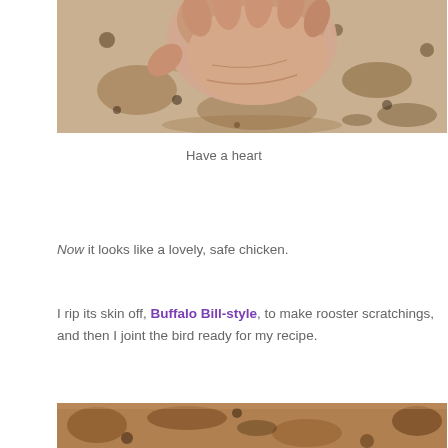[Figure (photo): A hand held over a granite/stone countertop surface, viewed from below showing palm and fingers curled]
Have a heart
Now it looks like a lovely, safe chicken.
I rip its skin off, Buffalo Bill-style, to make rooster scratchings, and then I joint the bird ready for my recipe.
[Figure (photo): Close-up of a granite or stone surface with brown and dark speckled pattern, partially visible at the bottom of the page]